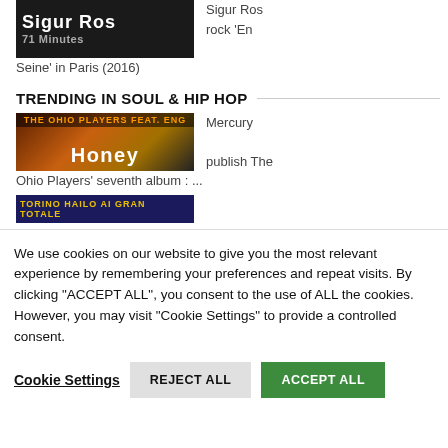[Figure (screenshot): Sigur Ros thumbnail showing '71 Minutes' text on dark background]
Sigur Ros rock 'En Seine' in Paris (2016)
TRENDING IN SOUL & HIP HOP
[Figure (screenshot): Ohio Players Honey album thumbnail with 'Honey' text overlay]
Mercury publish The Ohio Players' seventh album : ...
[Figure (screenshot): Another thumbnail with yellow text on dark blue background]
We use cookies on our website to give you the most relevant experience by remembering your preferences and repeat visits. By clicking "ACCEPT ALL", you consent to the use of ALL the cookies. However, you may visit "Cookie Settings" to provide a controlled consent.
Cookie Settings   REJECT ALL   ACCEPT ALL